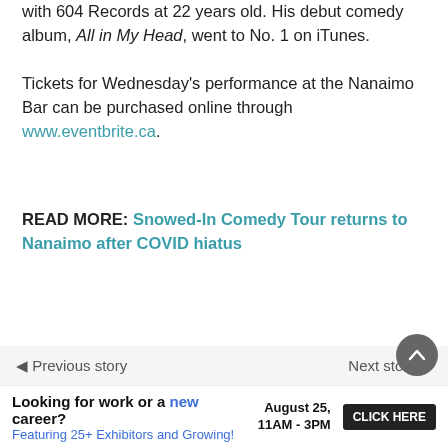with 604 Records at 22 years old. His debut comedy album, All in My Head, went to No. 1 on iTunes.
Tickets for Wednesday's performance at the Nanaimo Bar can be purchased online through www.eventbrite.ca.
READ MORE: Snowed-In Comedy Tour returns to Nanaimo after COVID hiatus
arts@nanaimobulletin.com
Like us on Facebook and follow us on Twitter
Read More
Looking for work or a new career? August 25, 11AM - 3PM Featuring 25+ Exhibitors and Growing! CLICK HERE